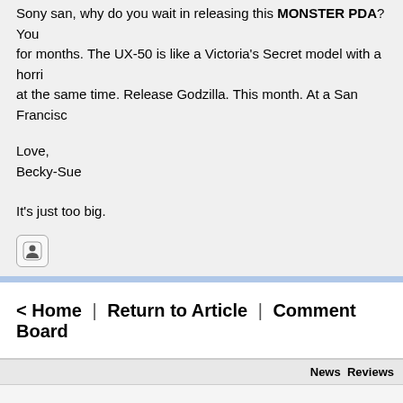Sony san, why do you wait in releasing this MONSTER PDA? You for months. The UX-50 is like a Victoria's Secret model with a horri at the same time. Release Godzilla. This month. At a San Francisc
Love,
Becky-Sue
It's just too big.
[Figure (other): Small icon button with a person/user symbol]
< Home | Return to Article | Comment Board
News  Reviews
PalmInfocenter.com is no Any use of the word Palm is for discu Unauthorized use or r